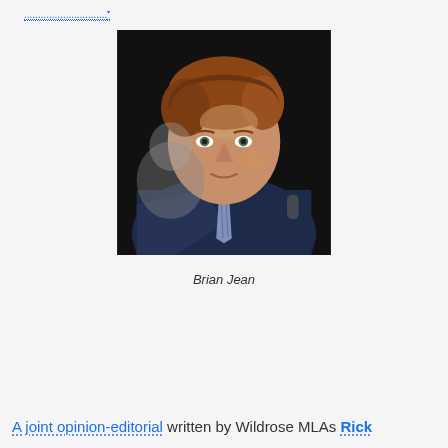..............................
[Figure (photo): Portrait photo of Brian Jean, a man with reddish-blonde hair wearing a dark navy suit and striped tie, photographed against a dark background]
Brian Jean
A joint opinion-editorial written by Wildrose MLAs Rick